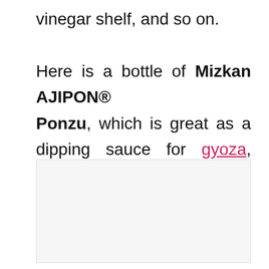vinegar shelf, and so on.

Here is a bottle of Mizkan AJIPON® Ponzu, which is great as a dipping sauce for gyoza, marinade, and pour-over sauce.
[Figure (photo): Image placeholder area (light gray box) showing a bottle of Mizkan AJIPON Ponzu]